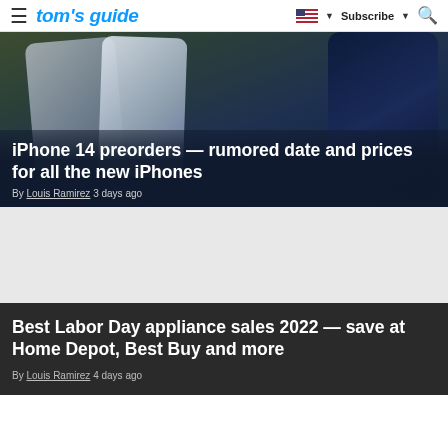tom's guide — Subscribe — Search
[Figure (photo): Two iPhones photographed from the back on a wooden surface, one silver/white and one dark blue/space gray, with a dark semi-transparent overlay containing headline text.]
iPhone 14 preorders — rumored date and prices for all the new iPhones
By Louis Ramirez 3 days ago
[Figure (other): Gray advertisement placeholder block]
Best Labor Day appliance sales 2022 — save at Home Depot, Best Buy and more
By Louis Ramirez 4 days ago